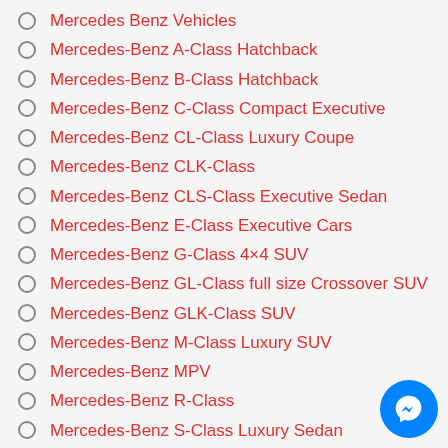Mercedes Benz Vehicles
Mercedes-Benz A-Class Hatchback
Mercedes-Benz B-Class Hatchback
Mercedes-Benz C-Class Compact Executive
Mercedes-Benz CL-Class Luxury Coupe
Mercedes-Benz CLK-Class
Mercedes-Benz CLS-Class Executive Sedan
Mercedes-Benz E-Class Executive Cars
Mercedes-Benz G-Class 4×4 SUV
Mercedes-Benz GL-Class full size Crossover SUV
Mercedes-Benz GLK-Class SUV
Mercedes-Benz M-Class Luxury SUV
Mercedes-Benz MPV
Mercedes-Benz R-Class
Mercedes-Benz S-Class Luxury Sedan
Mercedes-Benz SL-Class
Mercedes-Benz SLK-Class Roadster